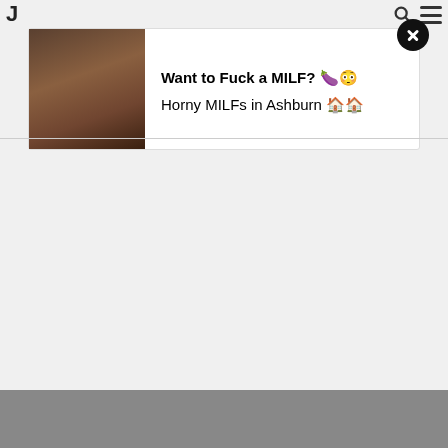[Figure (screenshot): A screenshot of a webpage showing an intrusive advertisement banner. The ad has a photo of a woman on the left side and text on the right reading 'Want to Fuck a MILF? 🍆😳' and 'Horny MILFs in Ashburn 🏠🏠'. A black close button (X) appears in the top-right corner of the ad. The background is light gray. Navigation icons (search and hamburger menu) appear in the top-right of the page. The letter 'J' appears in the top-left. A gray image placeholder appears at the bottom.]